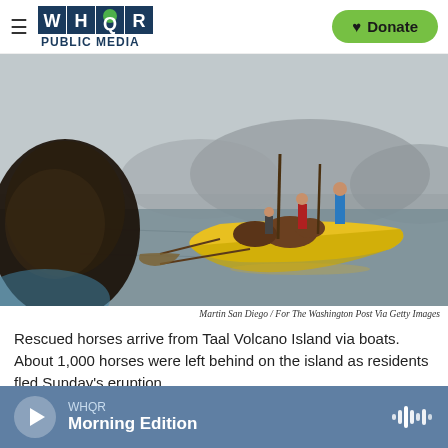WHQR PUBLIC MEDIA | Donate
[Figure (photo): A person in the foreground (blurred, seen from behind) watches as a yellow outrigger canoe carries people and horses across water, with misty mountains in the background. The scene depicts horse rescue from Taal Volcano Island.]
Martin San Diego / For The Washington Post Via Getty Images
Rescued horses arrive from Taal Volcano Island via boats. About 1,000 horses were left behind on the island as residents fled Sunday's eruption.
[Figure (other): WHQR player bar showing Morning Edition with play button and audio waveform icon]